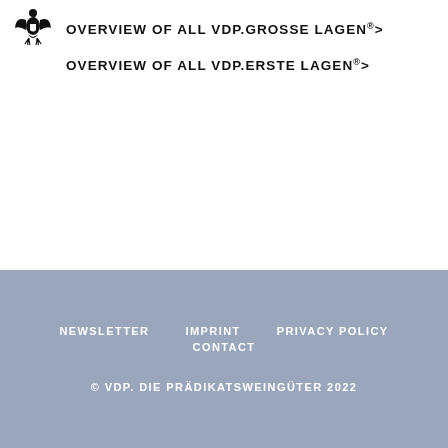[Figure (logo): VDP eagle logo (black and white heraldic eagle)]
OVERVIEW OF ALL VDP.GROSSE LAGEN®>
OVERVIEW OF ALL VDP.ERSTE LAGEN®>
NEWSLETTER   IMPRINT   PRIVACY POLICY   CONTACT   © VDP. DIE PRÄDIKATSWEINGÜTER 2022